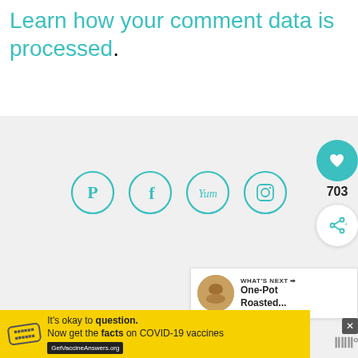Learn how your comment data is processed.
[Figure (screenshot): Social media icon buttons in teal circles: Pinterest, Facebook, Yummly, Instagram]
[Figure (infographic): Like button widget showing heart icon and count 703, plus share button]
[Figure (infographic): WHAT'S NEXT panel with food photo thumbnail and text 'One-Pot Roasted...']
[Figure (infographic): Yellow advertisement banner: It's okay to question. Now get the facts on COVID-19 vaccines. GetVaccineAnswers.org]
[Figure (photo): Partial view of a person's head with blonde hair]